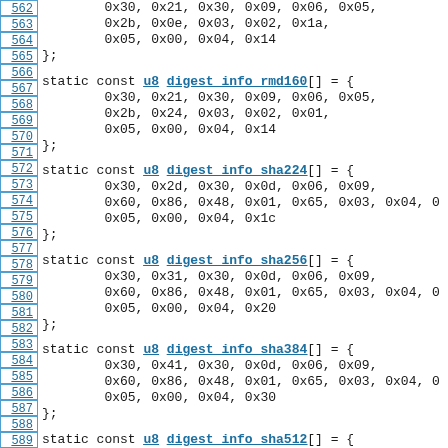Source code listing lines 562-591 showing C static const u8 array definitions for digest_info_rmd160, digest_info_sha224, digest_info_sha256, digest_info_sha384, and beginning of digest_info_sha512
562:         0x30, 0x21, 0x30, 0x09, 0x06, 0x05,
563:         0x2b, 0x0e, 0x03, 0x02, 0x1a,
564:         0x05, 0x00, 0x04, 0x14
565: };
566:
567: static const u8 digest_info_rmd160[] = {
568:         0x30, 0x21, 0x30, 0x09, 0x06, 0x05,
569:         0x2b, 0x24, 0x03, 0x02, 0x01,
570:         0x05, 0x00, 0x04, 0x14
571: };
572:
573: static const u8 digest_info_sha224[] = {
574:         0x30, 0x2d, 0x30, 0x0d, 0x06, 0x09,
575:         0x60, 0x86, 0x48, 0x01, 0x65, 0x03, 0x04, 0
576:         0x05, 0x00, 0x04, 0x1c
577: };
578:
579: static const u8 digest_info_sha256[] = {
580:         0x30, 0x31, 0x30, 0x0d, 0x06, 0x09,
581:         0x60, 0x86, 0x48, 0x01, 0x65, 0x03, 0x04, 0
582:         0x05, 0x00, 0x04, 0x20
583: };
584:
585: static const u8 digest_info_sha384[] = {
586:         0x30, 0x41, 0x30, 0x0d, 0x06, 0x09,
587:         0x60, 0x86, 0x48, 0x01, 0x65, 0x03, 0x04, 0
588:         0x05, 0x00, 0x04, 0x30
589: };
590:
591: static const u8 digest_info_sha512[] = {